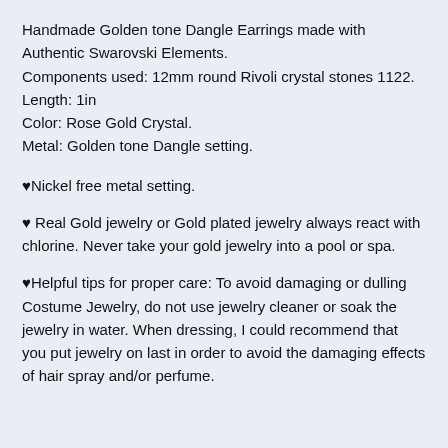Handmade Golden tone Dangle Earrings made with Authentic Swarovski Elements.
Components used: 12mm round Rivoli crystal stones 1122.
Length: 1in
Color: Rose Gold Crystal.
Metal: Golden tone Dangle setting.
♥Nickel free metal setting.
♥ Real Gold jewelry or Gold plated jewelry always react with chlorine. Never take your gold jewelry into a pool or spa.
♥Helpful tips for proper care: To avoid damaging or dulling Costume Jewelry, do not use jewelry cleaner or soak the jewelry in water. When dressing, I could recommend that you put jewelry on last in order to avoid the damaging effects of hair spray and/or perfume.